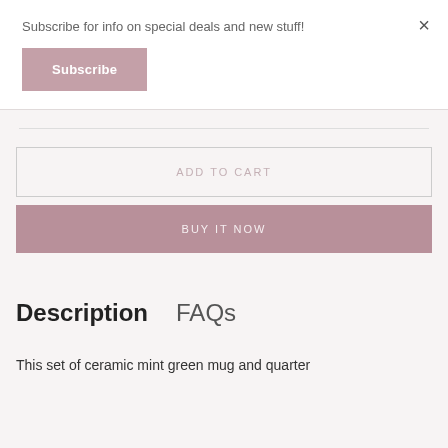Subscribe for info on special deals and new stuff!
Subscribe
×
ADD TO CART
BUY IT NOW
Description   FAQs
This set of ceramic mint green mug and quarter